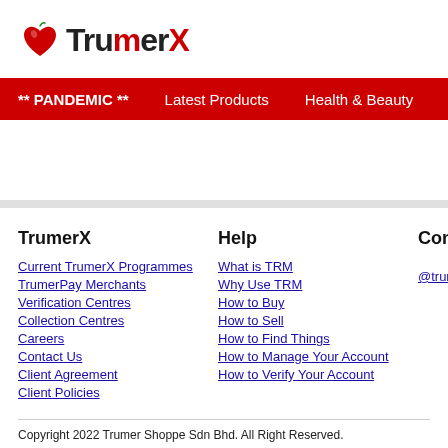[Figure (logo): TrumerX logo with red heart/apple icon and bold text TrumerX with red X]
** PANDEMIC **    Latest Products    Health & Beauty    Food & B...
TrumerX
Current TrumerX Programmes
TrumerPay Merchants
Verification Centres
Collection Centres
Careers
Contact Us
Client Agreement
Client Policies
Help
What is TRM
Why Use TRM
How to Buy
How to Sell
How to Find Things
How to Manage Your Account
How to Verify Your Account
Connect With
@trumerinternatio...
Copyright 2022 Trumer Shoppe Sdn Bhd. All Right Reserved.